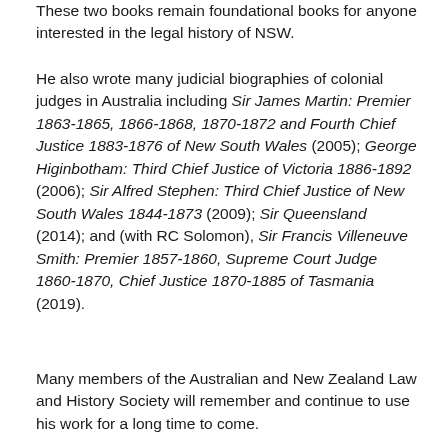These two books remain foundational books for anyone interested in the legal history of NSW.
He also wrote many judicial biographies of colonial judges in Australia including Sir James Martin: Premier 1863-1865, 1866-1868, 1870-1872 and Fourth Chief Justice 1883-1876 of New South Wales (2005); George Higinbotham: Third Chief Justice of Victoria 1886-1892 (2006); Sir Alfred Stephen: Third Chief Justice of New South Wales 1844-1873 (2009); Sir Queensland (2014); and (with RC Solomon), Sir Francis Villeneuve Smith: Premier 1857-1860, Supreme Court Judge 1860-1870, Chief Justice 1870-1885 of Tasmania  (2019).
Many members of the Australian and New Zealand Law and History Society will remember and continue to use his work for a long time to come.